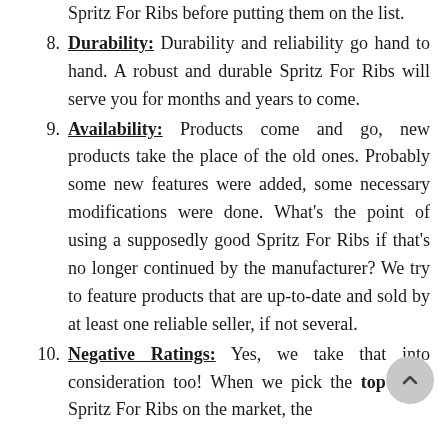Spritz For Ribs before putting them on the list.
8. Durability: Durability and reliability go hand to hand. A robust and durable Spritz For Ribs will serve you for months and years to come.
9. Availability: Products come and go, new products take the place of the old ones. Probably some new features were added, some necessary modifications were done. What’s the point of using a supposedly good Spritz For Ribs if that’s no longer continued by the manufacturer? We try to feature products that are up-to-date and sold by at least one reliable seller, if not several.
10. Negative Ratings: Yes, we take that into consideration too! When we pick the top rated Spritz For Ribs on the market, the